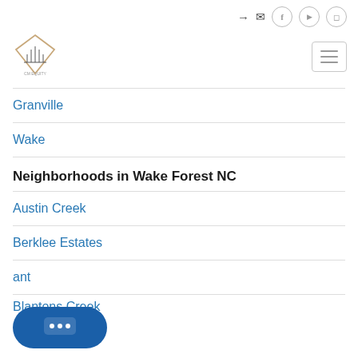Navigation icons: login, mail, facebook, youtube, instagram
[Figure (logo): Diamond-shaped real estate logo with text below]
Granville
Wake
Neighborhoods in Wake Forest NC
Austin Creek
Berklee Estates
...ant
Blantons Creek